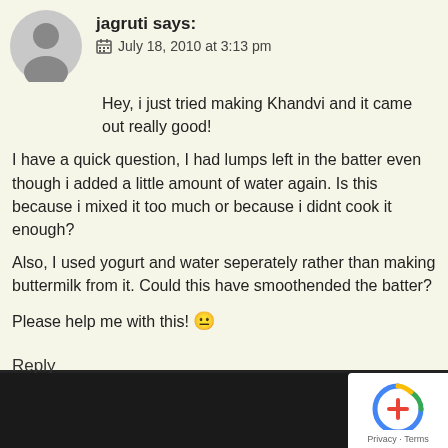jagruti says:
July 18, 2010 at 3:13 pm
Hey, i just tried making Khandvi and it came out really good!

I have a quick question, I had lumps left in the batter even though i added a little amount of water again. Is this because i mixed it too much or because i didnt cook it enough?

Also, I used yogurt and water seperately rather than making buttermilk from it. Could this have smoothended the batter?

Please help me with this! 😐
Reply
[Figure (logo): reCAPTCHA badge with Privacy and Terms link]